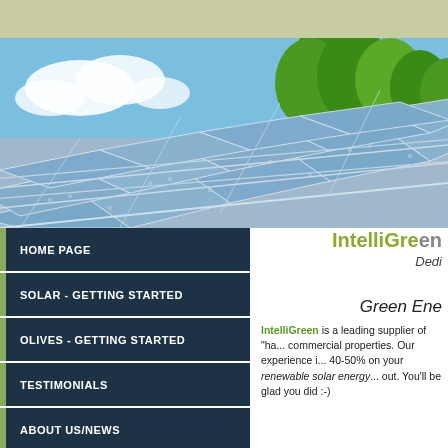[Figure (photo): Solar panels in the foreground with green trees and blue sky in the background]
HOME PAGE
SOLAR - GETTING STARTED
OLIVES - GETTING STARTED
TESTIMONIALS
ABOUT US/NEWS
IntelliGreen
Dedicated
Green Energy
IntelliGreen is a leading supplier of "ha... commercial properties. Our experience i... 40-50% on your renewable solar energy... out. You'll be glad you did :-)